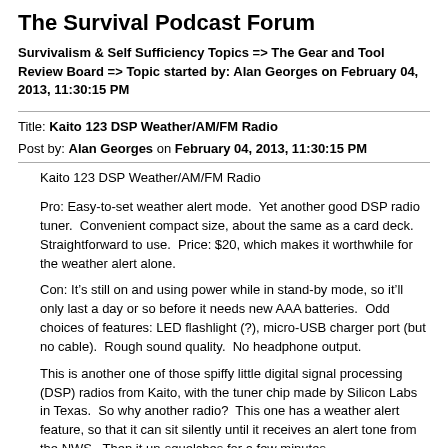The Survival Podcast Forum
Survivalism & Self Sufficiency Topics => The Gear and Tool Review Board => Topic started by: Alan Georges on February 04, 2013, 11:30:15 PM
Title: Kaito 123 DSP Weather/AM/FM Radio
Post by: Alan Georges on February 04, 2013, 11:30:15 PM
Kaito 123 DSP Weather/AM/FM Radio
Pro: Easy-to-set weather alert mode.  Yet another good DSP radio tuner.  Convenient compact size, about the same as a card deck.  Straightforward to use.  Price: $20, which makes it worthwhile for the weather alert alone.
Con: It’s still on and using power while in stand-by mode, so it’ll only last a day or so before it needs new AAA batteries.  Odd choices of features: LED flashlight (?), micro-USB charger port (but no cable).  Rough sound quality.  No headphone output.
This is another one of those spiffy little digital signal processing (DSP) radios from Kaito, with the tuner chip made by Silicon Labs in Texas.  So why another radio?  This one has a weather alert feature, so that it can sit silently until it receives an alert tone from the NWS.  Then it un-squelches for a few minutes